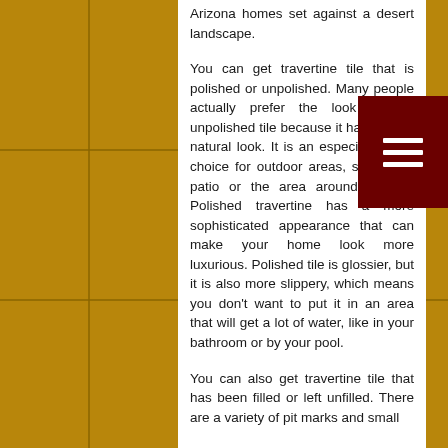Arizona homes set against a desert landscape.
You can get travertine tile that is polished or unpolished. Many people actually prefer the look of the unpolished tile because it has a more natural look. It is an especially good choice for outdoor areas, such as a patio or the area around a pool. Polished travertine has a more sophisticated appearance that can make your home look more luxurious. Polished tile is glossier, but it is also more slippery, which means you don't want to put it in an area that will get a lot of water, like in your bathroom or by your pool.
You can also get travertine tile that has been filled or left unfilled. There are a variety of pit marks and small